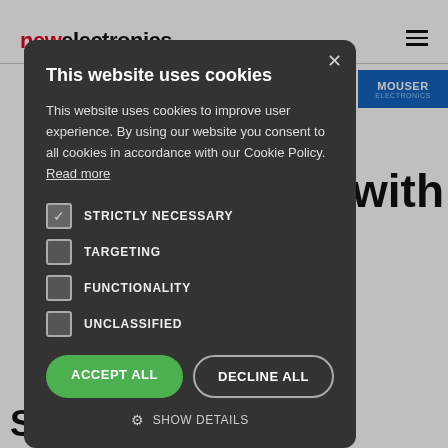newelectronics
[Figure (screenshot): Cookie consent modal dialog on newelectronics website. Dark grey modal with title 'This website uses cookies', body text, checkboxes for STRICTLY NECESSARY (checked), TARGETING, FUNCTIONALITY, UNCLASSIFIED (unchecked), Accept All and Decline All buttons, and Show Details option.]
This website uses cookies
This website uses cookies to improve user experience. By using our website you consent to all cookies in accordance with our Cookie Policy. Read more
STRICTLY NECESSARY (checked)
TARGETING
FUNCTIONALITY
UNCLASSIFIED